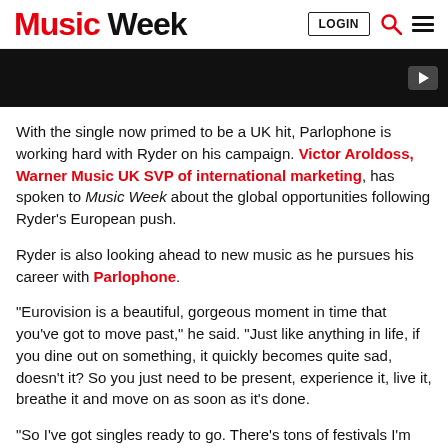Music Week | LOGIN
[Figure (screenshot): Dark video banner with play button in the bottom right corner]
With the single now primed to be a UK hit, Parlophone is working hard with Ryder on his campaign. Victor Aroldoss, Warner Music UK SVP of international marketing, has spoken to Music Week about the global opportunities following Ryder's European push.
Ryder is also looking ahead to new music as he pursues his career with Parlophone.
“Eurovision is a beautiful, gorgeous moment in time that you’ve got to move past,” he said. “Just like anything in life, if you dine out on something, it quickly becomes quite sad, doesn’t it? So you just need to be present, experience it, live it, breathe it and move on as soon as it’s done.
“So I’ve got singles ready to go. There’s tons of festivals I’m playing, I’m even going to South Korea to do a bunch of shows and festivals. Everyone’s been so supportive and hopefully it unlocks some other